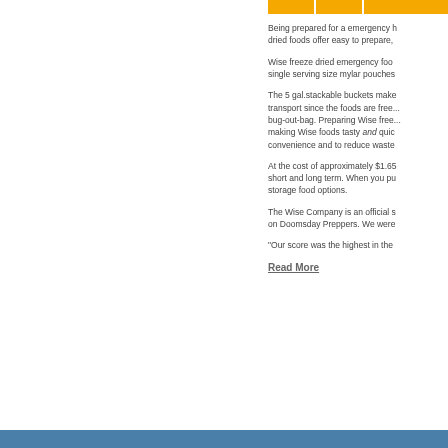Being prepared for a emergency has never been easier. Wise freeze dried foods offer easy to prepare,
Wise freeze dried emergency foo... single serving size mylar pouches
The 5 gal.stackable buckets make transport since the foods are free... bug-out-bag. Preparing Wise free... making Wise foods tasty and quick convenience and to reduce waste
At the cost of approximately $1.65 short and long term. When you pu... storage food options.
The Wise Company is an official s... on Doomsday Preppers. We were
"Our score was the highest in the
Read More